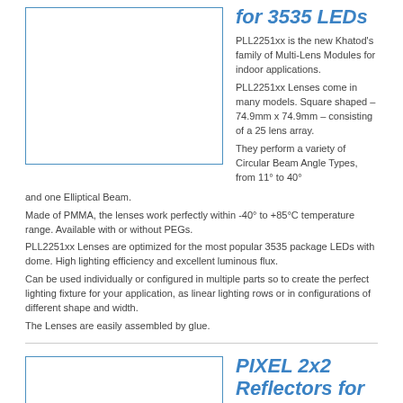for 3535 LEDs
[Figure (photo): Product image placeholder for PLL2251xx Multi-Lens Module, shown as a bordered empty box]
PLL2251xx is the new Khatod's family of Multi-Lens Modules for indoor applications.
PLL2251xx Lenses come in many models. Square shaped – 74.9mm x 74.9mm – consisting of a 25 lens array.
They perform a variety of Circular Beam Angle Types, from 11° to 40° and one Elliptical Beam.
Made of PMMA, the lenses work perfectly within -40° to +85°C temperature range. Available with or without PEGs.
PLL2251xx Lenses are optimized for the most popular 3535 package LEDs with dome. High lighting efficiency and excellent luminous flux.
Can be used individually or configured in multiple parts so to create the perfect lighting fixture for your application, as linear lighting rows or in configurations of different shape and width.
The Lenses are easily assembled by glue.
[Figure (photo): Product image placeholder for PIXEL 2x2 Reflectors, shown as a bordered empty box]
PIXEL 2x2 Reflectors for 3535 LED